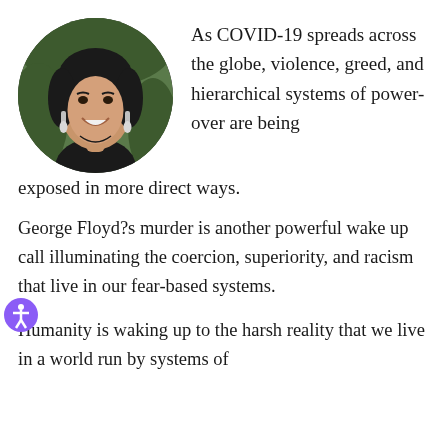[Figure (photo): Circular portrait photo of a smiling woman with dark hair, wearing earrings and a dark top, against a blurred outdoor background.]
As COVID-19 spreads across the globe, violence, greed, and hierarchical systems of power-over are being exposed in more direct ways.
George Floyd?s murder is another powerful wake up call illuminating the coercion, superiority, and racism that live in our fear-based systems.
Humanity is waking up to the harsh reality that we live in a world run by systems of